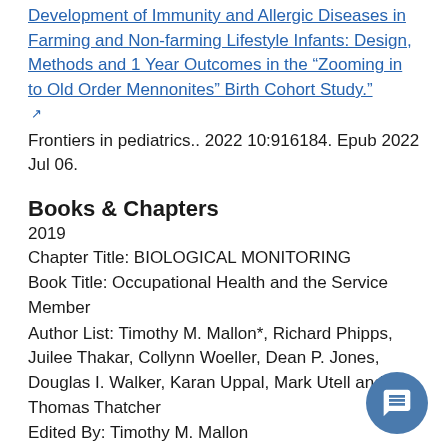Development of Immunity and Allergic Diseases in Farming and Non-farming Lifestyle Infants: Design, Methods and 1 Year Outcomes in the "Zooming in to Old Order Mennonites" Birth Cohort Study." [link] Frontiers in pediatrics.. 2022 10:916184. Epub 2022 Jul 06.
Books & Chapters
2019
Chapter Title: BIOLOGICAL MONITORING
Book Title: Occupational Health and the Service Member
Author List: Timothy M. Mallon*, Richard Phipps, Juilee Thakar, Collynn Woeller, Dean P. Jones, Douglas I. Walker, Karan Uppal, Mark Utell and Thomas Thatcher
Edited By: Timothy M. Mallon
Published By: Office of The Surgeon General Borden